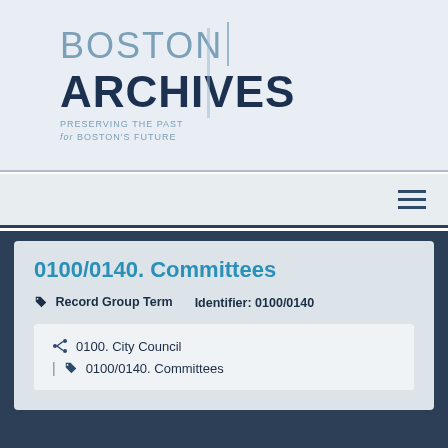[Figure (logo): Boston Archives logo with text 'BOSTON ARCHIVES - PRESERVING THE PAST for BOSTON'S FUTURE']
Navigation bar with hamburger menu icon
0100/0140. Committees
Record Group Term   Identifier: 0100/0140
0100. City Council
| 0100/0140. Committees